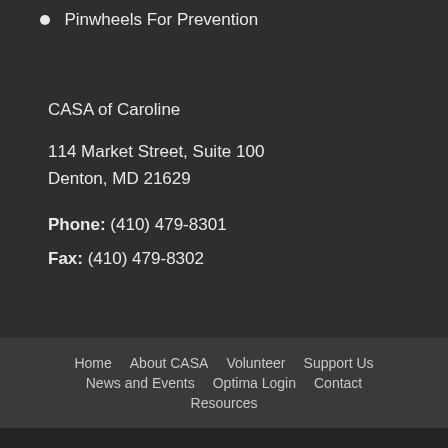Pinwheels For Prevention
CASA of Caroline
114 Market Street, Suite 100
Denton, MD 21629
Phone: (410) 479-8301
Fax: (410) 479-8302
Home   About CASA   Volunteer   Support Us   News and Events   Optima Login   Contact   Resources